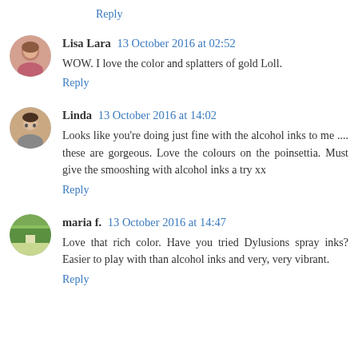Reply
Lisa Lara 13 October 2016 at 02:52
WOW. I love the color and splatters of gold Loll.
Reply
Linda 13 October 2016 at 14:02
Looks like you're doing just fine with the alcohol inks to me .... these are gorgeous. Love the colours on the poinsettia. Must give the smooshing with alcohol inks a try xx
Reply
maria f. 13 October 2016 at 14:47
Love that rich color. Have you tried Dylusions spray inks? Easier to play with than alcohol inks and very, very vibrant.
Reply